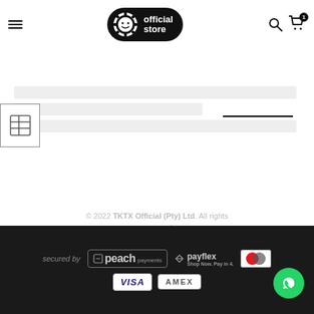[Figure (logo): TKTX Official Store logo — black rounded pill badge with gear/smiley icon and 'official store' text in white]
[Figure (screenshot): Blurred/placeholder page content area with gray bars]
[Figure (other): Small table icon thumbnail on left side]
© 2022 TKTX Official (Pty) Ltd. All rights reserved
secured by peach payments | payflex Shop Now. Pay in 4. | VISA | AMEX | Mastercard